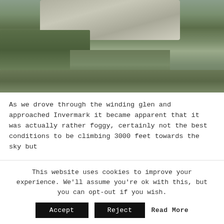[Figure (photo): Landscape photo of a winding glen with a rocky stream/riverbed and green-brown moorland grass, showing Scottish highland scenery near Invermark.]
As we drove through the winding glen and approached Invermark it became apparent that it was actually rather foggy, certainly not the best conditions to be climbing 3000 feet towards the sky but
This website uses cookies to improve your experience. We'll assume you're ok with this, but you can opt-out if you wish.
Accept   Reject   Read More